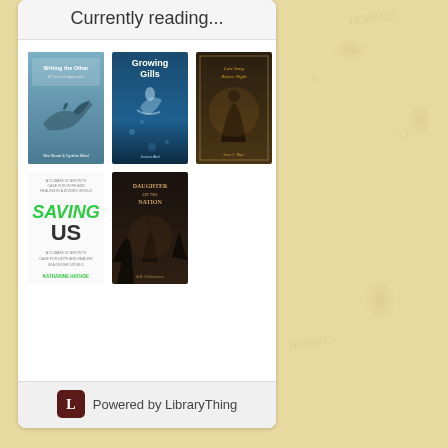Currently reading...
[Figure (illustration): Grid of 5 book covers currently being read: (1) Writing the Other by Nisi Shawl - teal cover with shark, (2) Growing Gills - blue underwater cover with swimmer, (3) Last Song Before Night - dark sepia fantasy cover, (4) Saving Us by Katharine Hayhoe - white cover with green text, (5) Daughter of No Nation - dark cover with figure in forest]
Powered by LibraryThing